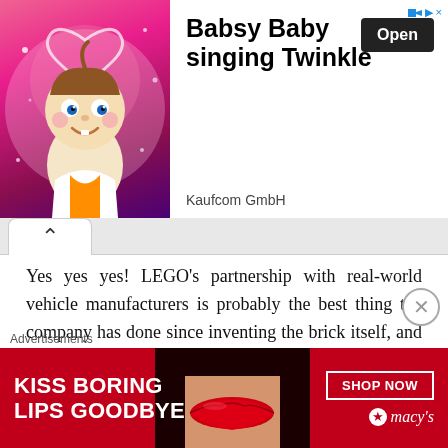[Figure (photo): Top banner advertisement for 'Babsy Baby singing Twinkle' by Kaufcom GmbH, showing a cartoon baby character on a pink sparkly background with an Open button]
[Figure (screenshot): Collapse/accordion tab button with upward chevron arrow]
Yes yes yes! LEGO's partnership with real-world vehicle manufacturers is probably the best thing the company has done since inventing the brick itself, and in no set is this more evident than the brand new 10295 Creator Expert Porsche 911.
Containing a whopping 1,458 pieces and aimed at ages 18+, the 10295 Porsche 911 sets a new high for the Creator Expert series.
[Figure (photo): Bottom advertisement banner: 'KISS BORING LIPS GOODBYE' with SHOP NOW button and Macy's star logo, showing a woman's face with red lips]
Advertisements